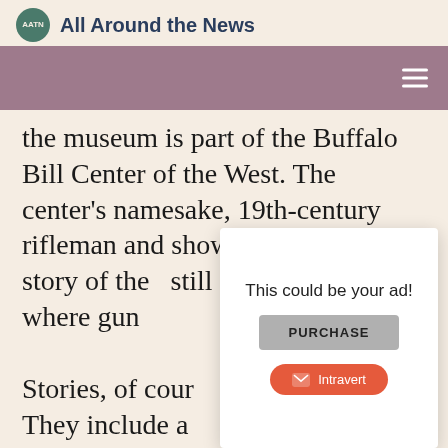All Around the News
the museum is part of the Buffalo Bill Center of the West. The center's namesake, 19th-century rifleman and showman Buffa… the story of the… still familiar to… one where gun…
Stories, of cour… They include a… details; they hi…
[Figure (other): Advertisement overlay with 'This could be your ad!' text, a PURCHASE button, and an Intravert button]